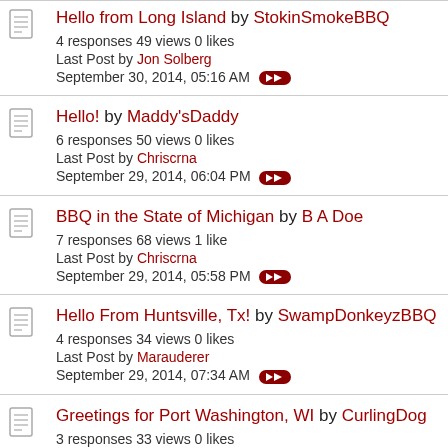Hello from Long Island by StokinSmokeBBQ — 4 responses 49 views 0 likes — Last Post by Jon Solberg — September 30, 2014, 05:16 AM
Hello! by Maddy'sDaddy — 6 responses 50 views 0 likes — Last Post by Chriscrna — September 29, 2014, 06:04 PM
BBQ in the State of Michigan by B A Doe — 7 responses 68 views 1 like — Last Post by Chriscrna — September 29, 2014, 05:58 PM
Hello From Huntsville, Tx! by SwampDonkeyzBBQ — 4 responses 34 views 0 likes — Last Post by Marauderer — September 29, 2014, 07:34 AM
Greetings for Port Washington, WI by CurlingDog — 3 responses 33 views 0 likes — Last Post by Jon Solberg — September 29, 2014, 07:23 AM